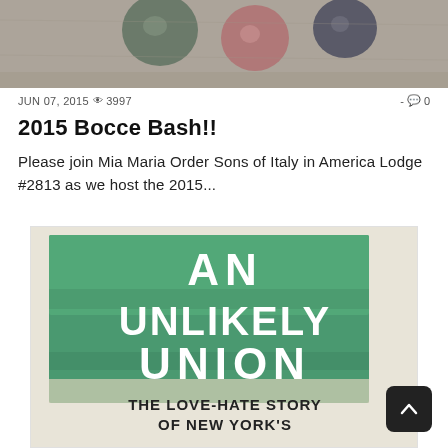[Figure (photo): Top portion of a photo showing bocce balls on a ground surface, cropped at the top of the page]
JUN 07, 2015 👁 3997   - 💬 0
2015 Bocce Bash!!
Please join Mia Maria Order Sons of Italy in America Lodge #2813 as we host the 2015...
[Figure (photo): Book cover showing 'AN UNLIKELY UNION - THE LOVE-HATE STORY OF NEW YORK'S' in white text on green painted background]